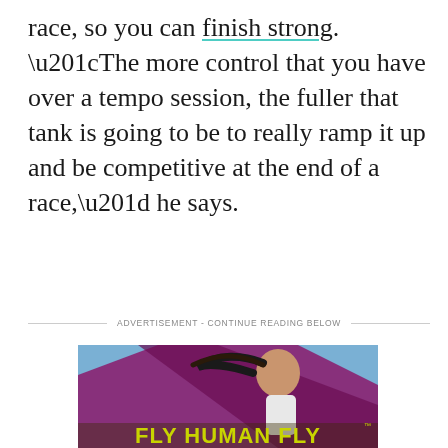race, so you can finish strong. “The more control that you have over a tempo session, the fuller that tank is going to be to really ramp it up and be competitive at the end of a race,” he says.
ADVERTISEMENT - CONTINUE READING BELOW
[Figure (photo): Advertisement photo showing a female runner in profile with a ponytail flying, running in front of a purple/magenta graphic swoosh design. Text at bottom reads FLY HUMAN FLY in bold yellow-green letters.]